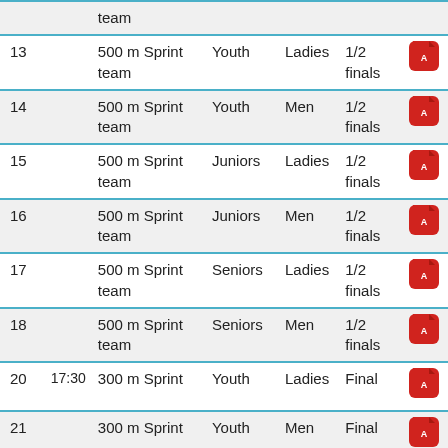| # | Time | Event | Category | Gender | Round |  |
| --- | --- | --- | --- | --- | --- | --- |
|  |  | team |  |  |  |  |
| 13 |  | 500 m Sprint team | Youth | Ladies | 1/2 finals | pdf |
| 14 |  | 500 m Sprint team | Youth | Men | 1/2 finals | pdf |
| 15 |  | 500 m Sprint team | Juniors | Ladies | 1/2 finals | pdf |
| 16 |  | 500 m Sprint team | Juniors | Men | 1/2 finals | pdf |
| 17 |  | 500 m Sprint team | Seniors | Ladies | 1/2 finals | pdf |
| 18 |  | 500 m Sprint team | Seniors | Men | 1/2 finals | pdf |
| 20 | 17:30 | 300 m Sprint | Youth | Ladies | Final | pdf |
| 21 |  | 300 m Sprint | Youth | Men | Final | pdf |